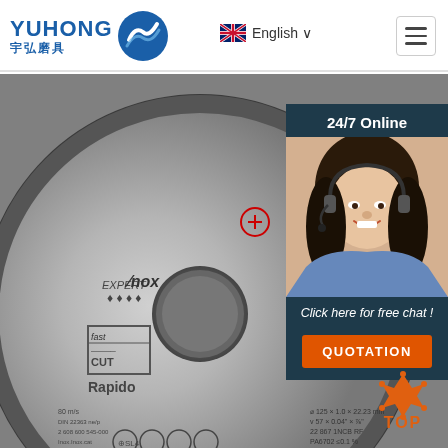[Figure (logo): Yuhong grinding company logo with Chinese characters 宇弘磨具 and a blue circular wave icon]
English ∨
[Figure (photo): Close-up of a Bosch Expert Inox fast cut Rapido cutting disc/grinding wheel, grey metallic surface with safety symbols and product specifications]
24/7 Online
[Figure (photo): Customer service representative woman wearing headset, smiling, in blue shirt]
Click here for free chat !
QUOTATION
[Figure (logo): TOP badge with orange pyramid/star icon and orange text TOP]